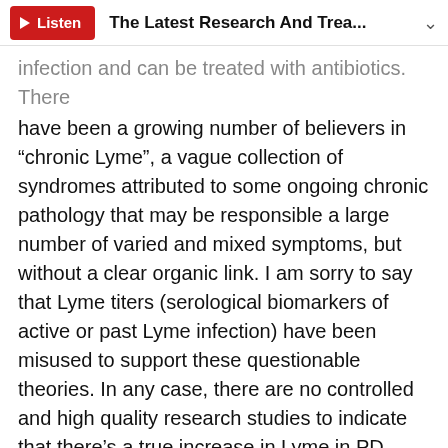Listen  The Latest Research And Trea...
infection and can be treated with antibiotics. There have been a growing number of believers in “chronic Lyme”, a vague collection of syndromes attributed to some ongoing chronic pathology that may be responsible a large number of varied and mixed symptoms, but without a clear organic link. I am sorry to say that Lyme titers (serological biomarkers of active or past Lyme infection) have been misused to support these questionable theories. In any case, there are no controlled and high quality research studies to indicate that there’s a true increase in Lyme in PD patients and I doubt much effort will or should be devoted to this as there doesn’t appear to be any specific biological connection between (at least the idiopathic form of) PD & Lyme disease.
Q: I take two medicines that affect dopamine and